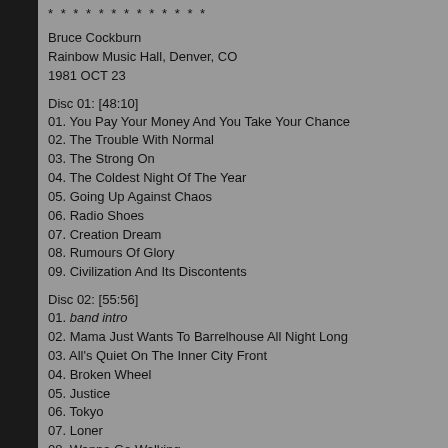* * * * * * * * * * * * *
Bruce Cockburn
Rainbow Music Hall, Denver, CO
1981 OCT 23
Disc 01: [48:10]
01. You Pay Your Money And You Take Your Chance
02. The Trouble With Normal
03. The Strong On
04. The Coldest Night Of The Year
05. Going Up Against Chaos
06. Radio Shoes
07. Creation Dream
08. Rumours Of Glory
09. Civilization And Its Discontents
Disc 02: [55:56]
01. band intro
02. Mama Just Wants To Barrelhouse All Night Long
03. All's Quiet On The Inner City Front
04. Broken Wheel
05. Justice
06. Tokyo
07. Loner
08. Wanna Go Walking
09. It's Going Down Slow
Encore:
10. Wondering Where The Lions Are
11. All The Diamonds
Total Time: [104:06]